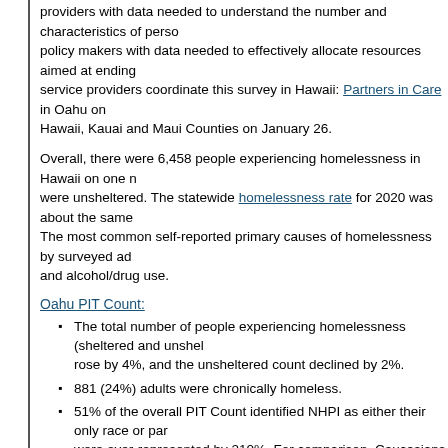providers with data needed to understand the number and characteristics of persons... policy makers with data needed to effectively allocate resources aimed at ending... service providers coordinate this survey in Hawaii: Partners in Care in Oahu on ... Hawaii, Kauai and Maui Counties on January 26.
Overall, there were 6,458 people experiencing homelessness in Hawaii on one night... were unsheltered. The statewide homelessness rate for 2020 was about the same... The most common self-reported primary causes of homelessness by surveyed adults... and alcohol/drug use.
Oahu PIT Count:
The total number of people experiencing homelessness (sheltered and unsheltered) rose by 4%, and the unsheltered count declined by 2%.
881 (24%) adults were chronically homeless.
51% of the overall PIT Count identified NHPI as either their only race or part... were over-represented by 210%. For comparison, Caucasians and Asians were... respectively.
1 in 4 homeless adults surveyed reported at least one mental health problem,
Neighbor Island (Hawaii, Maui, and Kauai) PIT Count:
The total number of people experiencing homelessness (sheltered and unsheltered)... 2,010. The sheltered count declined by 7%, while the unsheltered count rose...
709 (35%) adults were chronically homeless.